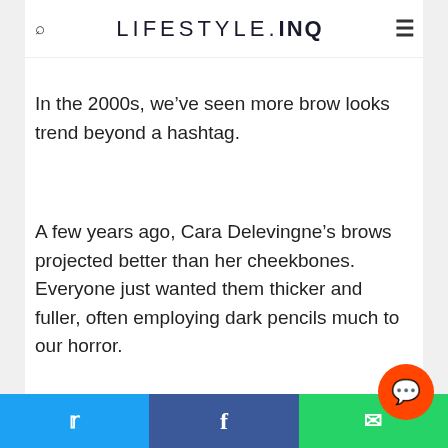LIFESTYLE.INQ
In the 2000s, we’ve seen more brow looks trend beyond a hashtag.
A few years ago, Cara Delevingne’s brows projected better than her cheekbones. Everyone just wanted them thicker and fuller, often employing dark pencils much to our horror.
Thankfully, the trend has passed and we’re seein…